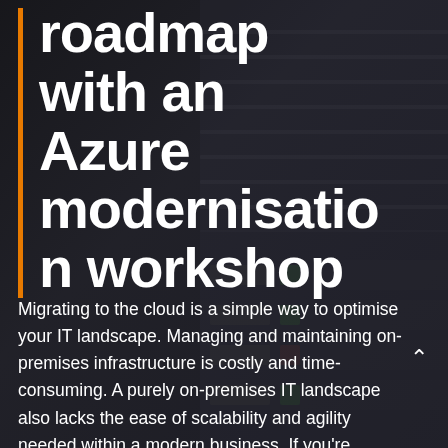roadmap with an Azure modernisation workshop
Migrating to the cloud is a simple way to optimise your IT landscape. Managing and maintaining on-premises infrastructure is costly and time-consuming. A purely on-premises IT landscape also lacks the ease of scalability and agility needed within a modern business. If you're traditional